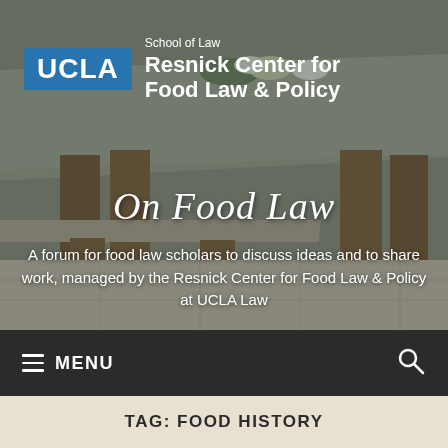[Figure (photo): Outdoor stone table with wooden legs and a bench, with flowers on top, viewed from an angle. Serves as hero background image for UCLA Resnick Center for Food Law & Policy blog.]
UCLA School of Law Resnick Center for Food Law & Policy
On Food Law
A forum for food law scholars to discuss ideas and to share work, managed by the Resnick Center for Food Law & Policy at UCLA Law
MENU
TAG: FOOD HISTORY